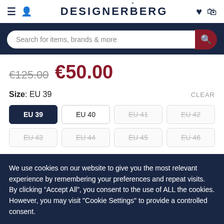DESIGNERBERG - Navigation bar with hamburger, user, wishlist, and bag icons
Search for items, brands & more
€125.00 €50.00
Size: EU 39   CLEAR
EU 39 (selected), EU 40, EU 41 (unavailable), EU 42 (unavailable), EU 43 (unavailable), EU 44 (unavailable), EU 45 (unavailable), EU 46 (unavailable)
We use cookies on our website to give you the most relevant experience by remembering your preferences and repeat visits. By clicking "Accept All", you consent to the use of ALL the cookies. However, you may visit "Cookie Settings" to provide a controlled consent.
Cookie Settings   Accept All